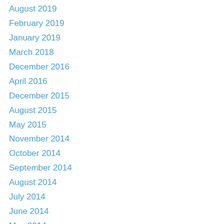August 2019
February 2019
January 2019
March 2018
December 2016
April 2016
December 2015
August 2015
May 2015
November 2014
October 2014
September 2014
August 2014
July 2014
June 2014
May 2014
April 2014
March 2014
February 2014
January 2014